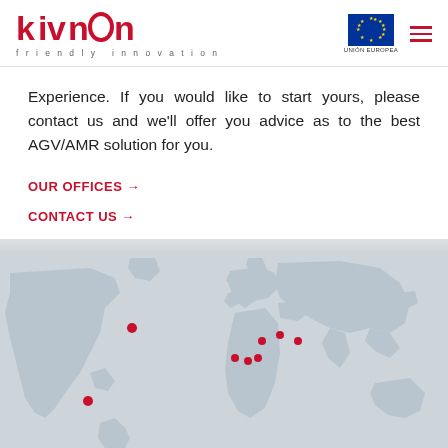KIVNON friendly innovation
Experience. If you would like to start yours, please contact us and we'll offer you advice as to the best AGV/AMR solution for you.
OUR OFFICES →
CONTACT US →
[Figure (map): World map showing office locations with red dots in North America (2 locations), Europe (multiple clustered locations in Western and Southern Europe), indicating global office presence.]